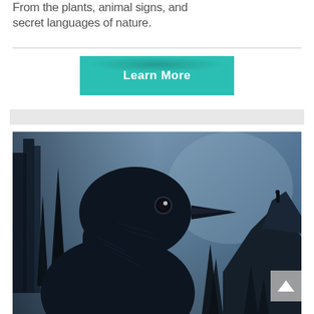From the plants, animal signs, and secret languages of nature.
[Figure (other): Teal/turquoise 'Learn More' call-to-action button with drop shadow below]
[Figure (photo): Dark atmospheric photo of a giant raven head in a misty forest with tall pine trees; a small human figure stands on a rock outcrop in the background. A gray 'back to top' chevron button overlays the bottom-right corner.]